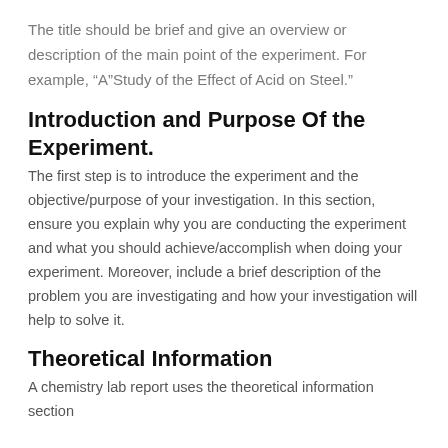The title should be brief and give an overview or description of the main point of the experiment. For example, “A”Study of the Effect of Acid on Steel.”
Introduction and Purpose Of the Experiment.
The first step is to introduce the experiment and the objective/purpose of your investigation. In this section, ensure you explain why you are conducting the experiment and what you should achieve/accomplish when doing your experiment. Moreover, include a brief description of the problem you are investigating and how your investigation will help to solve it.
Theoretical Information
A chemistry lab report uses the theoretical information section